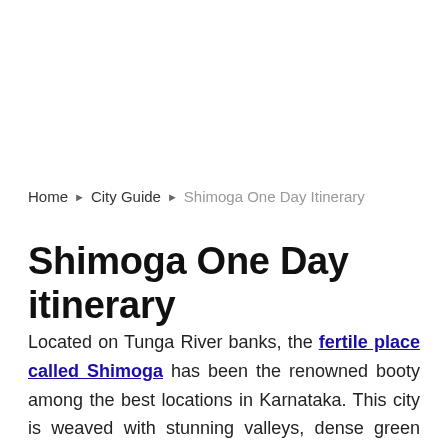Home › City Guide › Shimoga One Day Itinerary
Shimoga One Day itinerary
Located on Tunga River banks, the fertile place called Shimoga has been the renowned booty among the best locations in Karnataka. This city is weaved with stunning valleys, dense green forests, paddy fields, hills, rivers, lovely waterfalls, wildlife and sunset points. Major